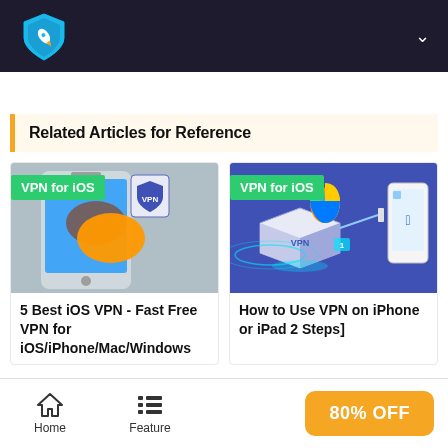iTop VPN logo header with navigation chevron
Related Articles for Reference
[Figure (screenshot): Article card image showing smartphone with VPN chat bubbles, labeled 'VPN for iOS']
5 Best iOS VPN - Fast Free VPN for iOS/iPhone/Mac/Windows
[Figure (screenshot): Article card image showing VPN box, Apple logo, and iPhone, labeled 'VPN for iOS']
How to Use VPN on iPhone or iPad 2 Steps]
Home  Feature  80% OFF